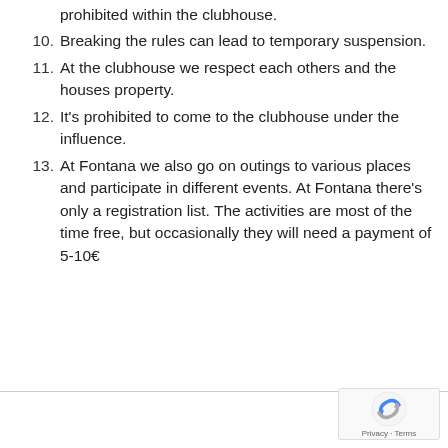prohibited within the clubhouse.
10. Breaking the rules can lead to temporary suspension.
11. At the clubhouse we respect each others and the houses property.
12. It’s prohibited to come to the clubhouse under the influence.
13. At Fontana we also go on outings to various places and participate in different events. At Fontana there’s only a registration list. The activities are most of the time free, but occasionally they will need a payment of 5-10€
Privacy · Terms